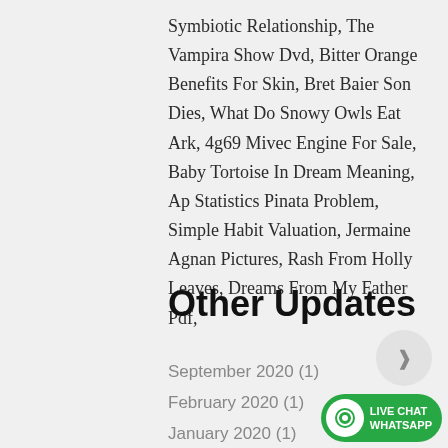Symbiotic Relationship, The Vampira Show Dvd, Bitter Orange Benefits For Skin, Bret Baier Son Dies, What Do Snowy Owls Eat Ark, 4g69 Mivec Engine For Sale, Baby Tortoise In Dream Meaning, Ap Statistics Pinata Problem, Simple Habit Valuation, Jermaine Agnan Pictures, Rash From Holly Leaves, Dreams From My Father Pdf,
Other Updates
September 2020 (1)
February 2020 (1)
January 2020 (1)